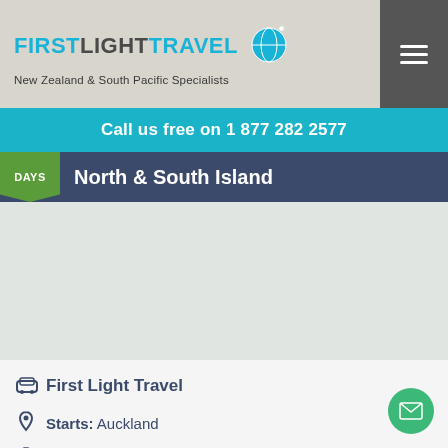FIRSTLIGHTTRAVEL — New Zealand & South Pacific Specialists
Call us free on 1 877 282 2577
North & South Island
[Figure (map): Map placeholder area showing North & South Island New Zealand route]
First Light Travel
Starts: Auckland
Finishes: Christchurch